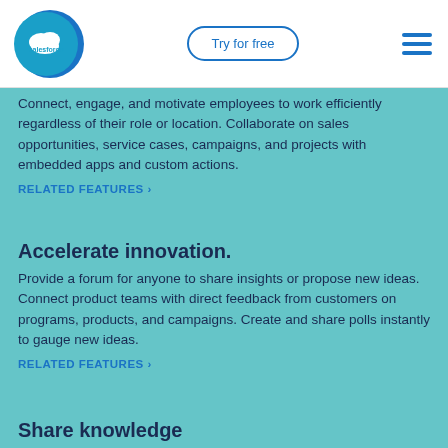salesforce | Try for free | [hamburger menu]
Connect, engage, and motivate employees to work efficiently regardless of their role or location. Collaborate on sales opportunities, service cases, campaigns, and projects with embedded apps and custom actions.
RELATED FEATURES >
Accelerate innovation.
Provide a forum for anyone to share insights or propose new ideas. Connect product teams with direct feedback from customers on programs, products, and campaigns. Create and share polls instantly to gauge new ideas.
RELATED FEATURES >
Share knowledge